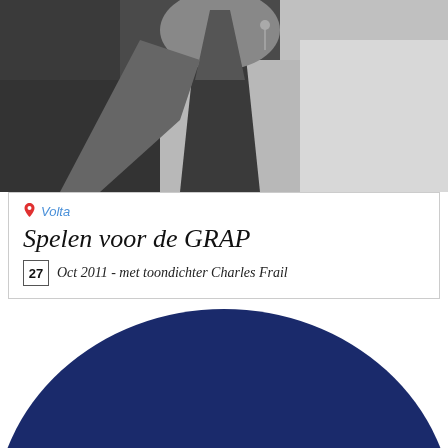[Figure (photo): Black and white photo of a person's neck/chest area with a tie and earring visible]
Volta
Spelen voor de GRAP
27 Oct 2011 - met toondichter Charles Frail
[Figure (logo): Dark navy blue semicircle/dome shape with a white diamond/MOON logo at the bottom center]
spr specials
Opening of Moonlife Concept Store